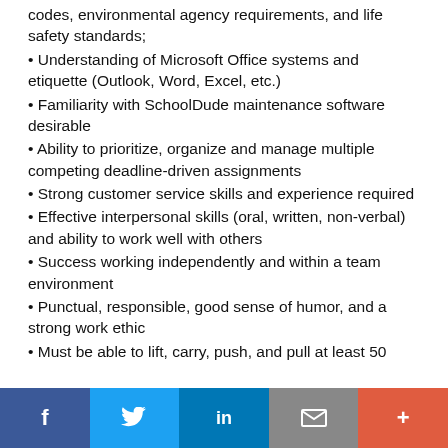codes, environmental agency requirements, and life safety standards;
Understanding of Microsoft Office systems and etiquette (Outlook, Word, Excel, etc.)
Familiarity with SchoolDude maintenance software desirable
Ability to prioritize, organize and manage multiple competing deadline-driven assignments
Strong customer service skills and experience required
Effective interpersonal skills (oral, written, non-verbal) and ability to work well with others
Success working independently and within a team environment
Punctual, responsible, good sense of humor, and a strong work ethic
Must be able to lift, carry, push, and pull at least 50
f  Twitter  in  Email  +